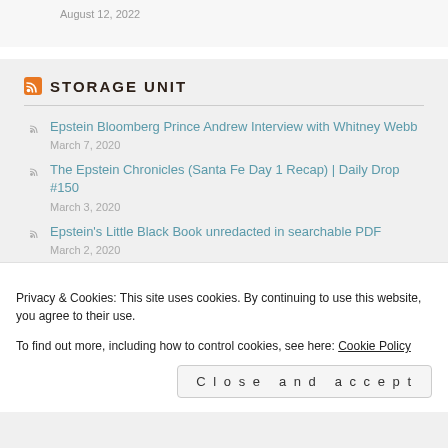August 12, 2022
STORAGE UNIT
Epstein Bloomberg Prince Andrew Interview with Whitney Webb — March 7, 2020
The Epstein Chronicles (Santa Fe Day 1 Recap) | Daily Drop #150 — March 3, 2020
Epstein's Little Black Book unredacted in searchable PDF — March 2, 2020
Privacy & Cookies: This site uses cookies. By continuing to use this website, you agree to their use. To find out more, including how to control cookies, see here: Cookie Policy
Close and accept